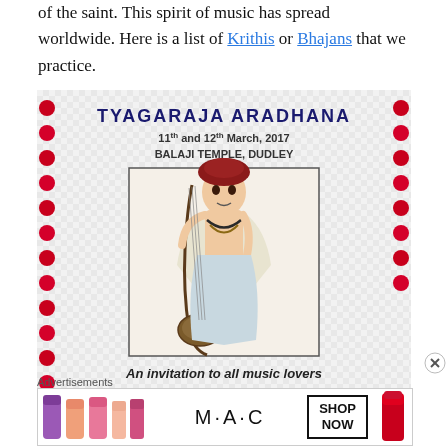of the saint. This spirit of music has spread worldwide. Here is a list of Krithis or Bhajans that we practice.
[Figure (photo): Photo of a flyer for Tyagaraja Aradhana event: '11th and 12th March, 2017, Balaji Temple, Dudley'. Contains an illustration of a saint playing a veena instrument. Text reads 'An invitation to all music lovers' and partially visible 'We cordially invite everybody to take part in the Tyagaraja aradhana'. The flyer has a decorative floral border with red flowers on a checkered background.]
Advertisements
[Figure (photo): MAC cosmetics advertisement showing lipsticks in purple, peach, pink colors on the left, MAC logo in the center, a 'SHOP NOW' button box, and a red lipstick on the right.]